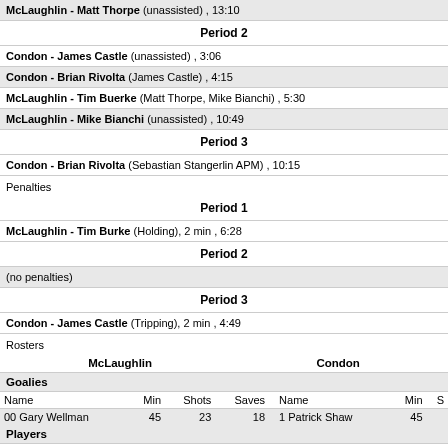McLaughlin - Matt Thorpe (unassisted) , 13:10
Period 2
Condon - James Castle (unassisted) , 3:06
Condon - Brian Rivolta (James Castle) , 4:15
McLaughlin - Tim Buerke (Matt Thorpe, Mike Bianchi) , 5:30
McLaughlin - Mike Bianchi (unassisted) , 10:49
Period 3
Condon - Brian Rivolta (Sebastian Stangerlin APM) , 10:15
Penalties
Period 1
McLaughlin - Tim Burke (Holding), 2 min , 6:28
Period 2
(no penalties)
Period 3
Condon - James Castle (Tripping), 2 min , 4:49
Rosters
| McLaughlin | Condon |
| --- | --- |
| Name | Min | Shots | Saves | Name | Min | S |
| --- | --- | --- | --- | --- | --- | --- |
| 00 Gary Wellman | 45 | 23 | 18 | 1 Patrick Shaw | 45 |  |
| # | Name | G | A | PTS | PIM | GWG | # | Name | G | A | PT |
| --- | --- | --- | --- | --- | --- | --- | --- | --- | --- | --- | --- |